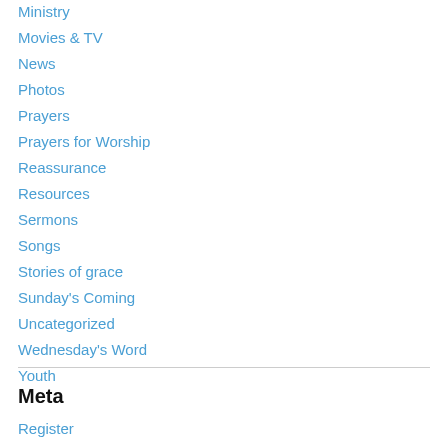Ministry
Movies & TV
News
Photos
Prayers
Prayers for Worship
Reassurance
Resources
Sermons
Songs
Stories of grace
Sunday's Coming
Uncategorized
Wednesday's Word
Youth
Meta
Register